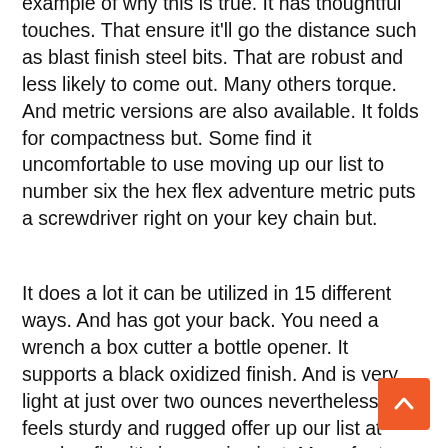example of why this is true. It has thoughtful touches. That ensure it'll go the distance such as blast finish steel bits. That are robust and less likely to come out. Many others torque. And metric versions are also available. It folds for compactness but. Some find it uncomfortable to use moving up our list to number six the hex flex adventure metric puts a screwdriver right on your key chain but.
It does a lot it can be utilized in 15 different ways. And has got your back. You need a wrench a box cutter a bottle opener. It supports a black oxidized finish. And is very light at just over two ounces nevertheless. It feels sturdy and rugged offer up our list at number five it's impressive just. Many features they've managed to p… into the we're a craft form compact 25 which is a lot o…